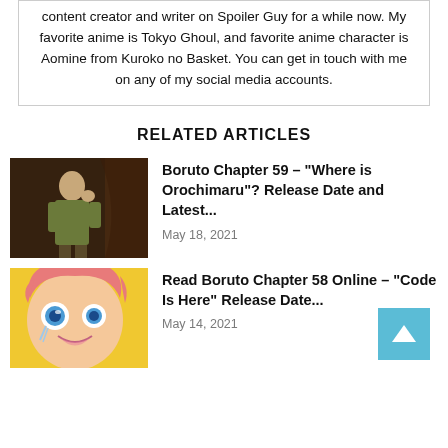content creator and writer on Spoiler Guy for a while now. My favorite anime is Tokyo Ghoul, and favorite anime character is Aomine from Kuroko no Basket. You can get in touch with me on any of my social media accounts.
RELATED ARTICLES
[Figure (photo): Anime character in dark outfit standing in a dramatic pose against curtains]
Boruto Chapter 59 – "Where is Orochimaru"? Release Date and Latest...
May 18, 2021
[Figure (photo): Anime character with pink/orange hair and blue eyes with emotional expression]
Read Boruto Chapter 58 Online – "Code Is Here" Release Date...
May 14, 2021